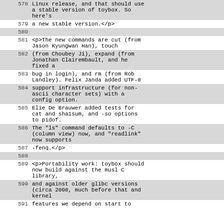| line | code |
| --- | --- |
| 578 | Linux release, and that should use
a stable version of toybox. So
here's |
| 579 | a new stable version.</p> |
| 580 |  |
| 581 | <p>The new commands are cut (from
Jason Kyungwan Han), touch |
| 582 | (from Choubey Ji), expand (from
Jonathan Clairembault, and he
fixed a |
| 583 | bug in login), and rm (from Rob
Landley). Felix Janda added UTF-8 |
| 584 | support infrastructure (for non-
ascii character sets) with a
config option. |
| 585 | Elie De Brauwer added tests for
cat and sha1sum, and -so options
to pidof. |
| 586 | The "ls" command defaults to -C
(column view) now, and "readlink"
now supports |
| 587 | -fenq.</p> |
| 588 |  |
| 589 | <p>Portability work: toybox should
now build against the musl C
library, |
| 590 | and against older glibc versions
(circa 2008, much before that and
kernel |
| 591 | features we depend on start to |